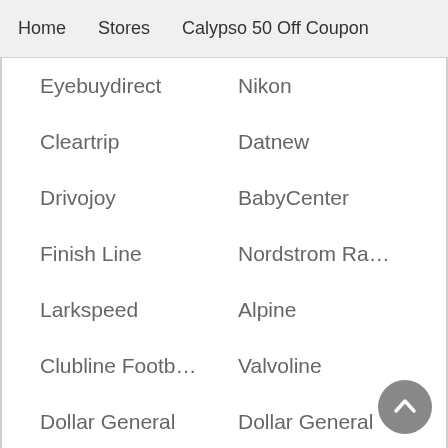Home   Stores   Calypso 50 Off Coupon
Eyebuydirect
Nikon
Cleartrip
Datnew
Drivojoy
BabyCenter
Finish Line
Nordstrom Ra…
Larkspeed
Alpine
Clubline Footb…
Valvoline
Dollar General
Dollar General
Home Depot
PetSmart